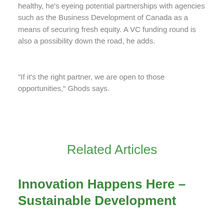healthy, he's eyeing potential partnerships with agencies such as the Business Development of Canada as a means of securing fresh equity. A VC funding round is also a possibility down the road, he adds.
“If it’s the right partner, we are open to those opportunities,” Ghods says.
Related Articles
Innovation Happens Here – Sustainable Development